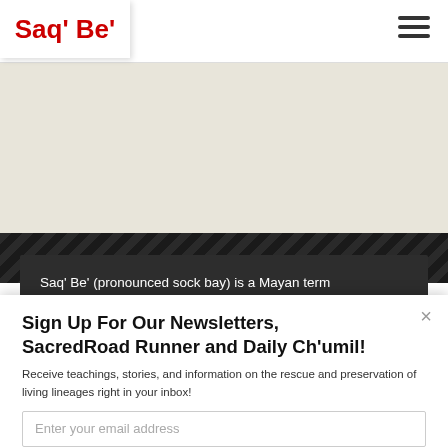Saq' Be'
[Figure (screenshot): Beige/tan background content area below header]
Saq' Be' (pronounced sock bay) is a Mayan term referring to the white/sacred road, the Milky Way
Sign Up For Our Newsletters, SacredRoad Runner and Daily Ch'umil!
Receive teachings, stories, and information on the rescue and preservation of living lineages right in your inbox!
Enter your email address
Subscribe Now